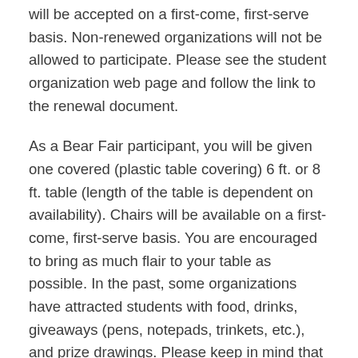will be accepted on a first-come, first-serve basis. Non-renewed organizations will not be allowed to participate. Please see the student organization web page and follow the link to the renewal document.
As a Bear Fair participant, you will be given one covered (plastic table covering) 6 ft. or 8 ft. table (length of the table is dependent on availability). Chairs will be available on a first-come, first-serve basis. You are encouraged to bring as much flair to your table as possible. In the past, some organizations have attracted students with food, drinks, giveaways (pens, notepads, trinkets, etc.), and prize drawings. Please keep in mind that electrical sources will be limited so we may not be able to grant requests for electricity. Also, please be aware that your table display cannot promote drugs and/or alcohol, or contain offensive